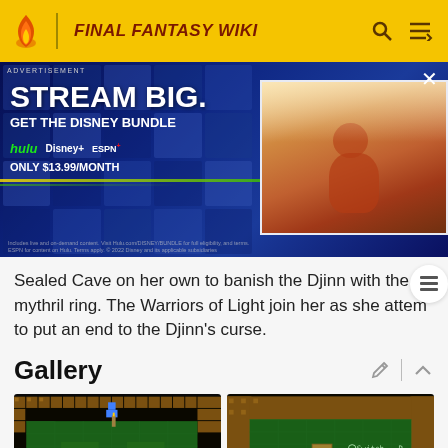FINAL FANTASY WIKI
[Figure (photo): Disney Bundle advertisement banner: 'STREAM BIG. GET THE DISNEY BUNDLE' with Hulu, Disney+, ESPN+ logos and ONLY $13.99/MONTH. Right side shows a movie/show still image of a figure in a desert scene.]
Sealed Cave on her own to banish the Djinn with the mythril ring. The Warriors of Light join her as she attem to put an end to the Djinn's curse.
Gallery
[Figure (screenshot): Retro 8-bit game screenshot showing a dungeon/cave scene with green floor tiles and dark cave walls]
[Figure (screenshot): Retro 8-bit game screenshot showing a cave scene with a chest labeled 'A' and a 'Switch' indicator]